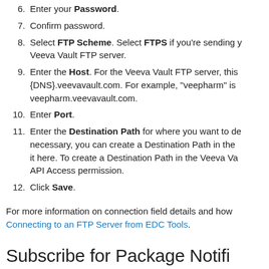6. Enter your Password.
7. Confirm password.
8. Select FTP Scheme. Select FTPS if you're sending y... Veeva Vault FTP server.
9. Enter the Host. For the Veeva Vault FTP server, this {DNS}.veevavault.com. For example, "veepharm" is veepharm.veevavault.com.
10. Enter Port.
11. Enter the Destination Path for where you want to de... necessary, you can create a Destination Path in the it here. To create a Destination Path in the Veeva Va... API Access permission.
12. Click Save.
For more information on connection field details and how Connecting to an FTP Server from EDC Tools.
Subscribe for Package Notifi